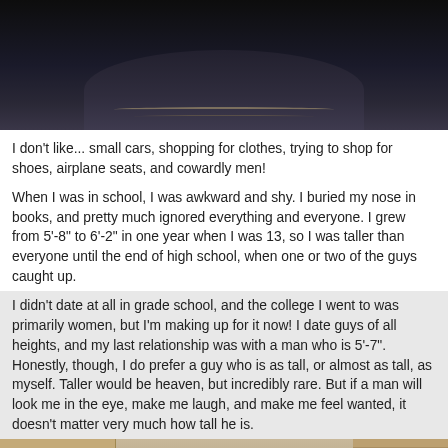[Figure (photo): Top portion of a photo showing a person's neckline/chest area wearing a dark outfit with a decorative necklace, dark background]
I don't like... small cars, shopping for clothes, trying to shop for shoes, airplane seats, and cowardly men!
When I was in school, I was awkward and shy. I buried my nose in books, and pretty much ignored everything and everyone. I grew from 5'-8" to 6'-2" in one year when I was 13, so I was taller than everyone until the end of high school, when one or two of the guys caught up.
I didn't date at all in grade school, and the college I went to was primarily women, but I'm making up for it now! I date guys of all heights, and my last relationship was with a man who is 5'-7". Honestly, though, I do prefer a guy who is as tall, or almost as tall, as myself. Taller would be heaven, but incredibly rare. But if a man will look me in the eye, make me laugh, and make me feel wanted, it doesn't matter very much how tall he is.
[Figure (photo): Street photo of a woman smiling at the camera, standing in an urban area with buildings, traffic lights, a clock tower, and street signs visible in the background]